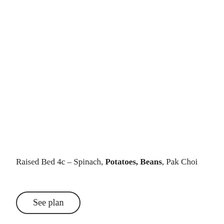Raised Bed 4c – Spinach, Potatoes, Beans, Pak Choi
See plan